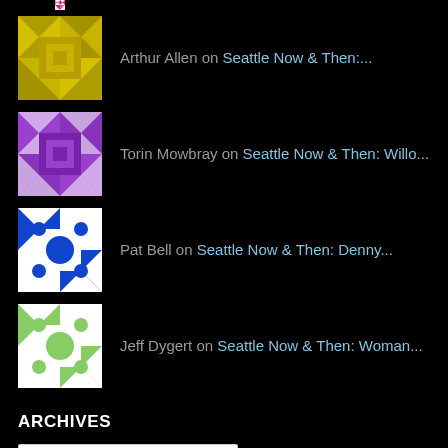Arthur Allen on Seattle Now & Then:...
Torin Mowbray on Seattle Now & Then: Willo...
Pat Bell on Seattle Now & Then: Denny...
Jeff Dygert on Seattle Now & Then: Woman...
ARCHIVES
Select Month
CATEGORIES